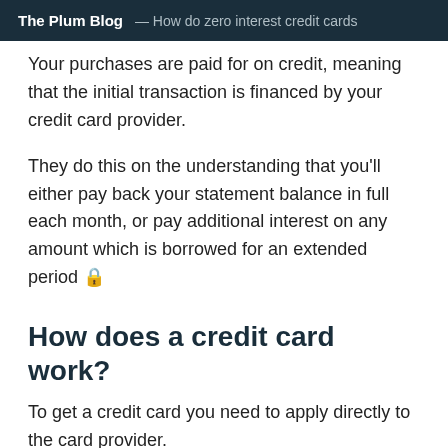The Plum Blog — How do zero interest credit cards
Your purchases are paid for on credit, meaning that the initial transaction is financed by your credit card provider.
They do this on the understanding that you'll either pay back your statement balance in full each month, or pay additional interest on any amount which is borrowed for an extended period 🔒
How does a credit card work?
To get a credit card you need to apply directly to the card provider.